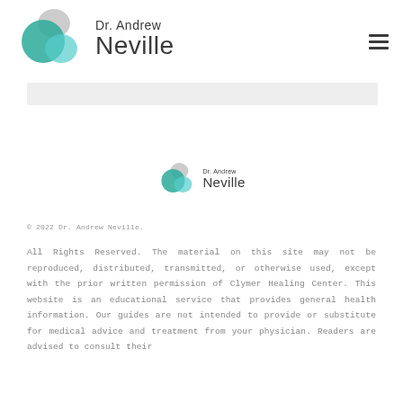[Figure (logo): Dr. Andrew Neville logo with overlapping teal/green abstract circles and name text]
[Figure (logo): Dr. Andrew Neville smaller centered logo with overlapping teal circles and name text]
© 2022 Dr. Andrew Neville.
All Rights Reserved. The material on this site may not be reproduced, distributed, transmitted, or otherwise used, except with the prior written permission of Clymer Healing Center. This website is an educational service that provides general health information. Our guides are not intended to provide or substitute for medical advice and treatment from your physician. Readers are advised to consult their